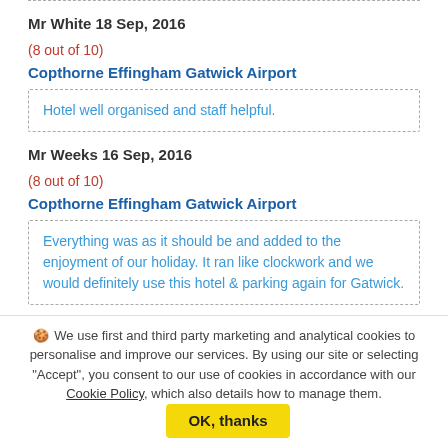Mr White 18 Sep, 2016
(8 out of 10)
Copthorne Effingham Gatwick Airport
Hotel well organised and staff helpful.
Mr Weeks 16 Sep, 2016
(8 out of 10)
Copthorne Effingham Gatwick Airport
Everything was as it should be and added to the enjoyment of our holiday. It ran like clockwork and we would definitely use this hotel & parking again for Gatwick.
Mrs James 15 Sep, 2016
🍪 We use first and third party marketing and analytical cookies to personalise and improve our services. By using our site or selecting "Accept", you consent to our use of cookies in accordance with our Cookie Policy, which also details how to manage them.